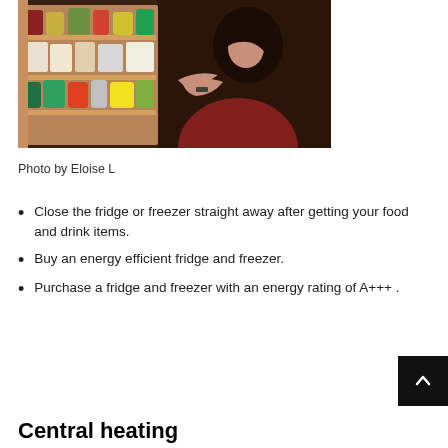[Figure (photo): Woman looking into an open refrigerator filled with food and drinks, wearing a dark red top]
Photo by Eloise  L
Close the fridge or freezer straight away after getting your food and drink items.
Buy an energy efficient fridge and freezer.
Purchase a fridge and freezer with an energy rating of A+++ .
Central heating